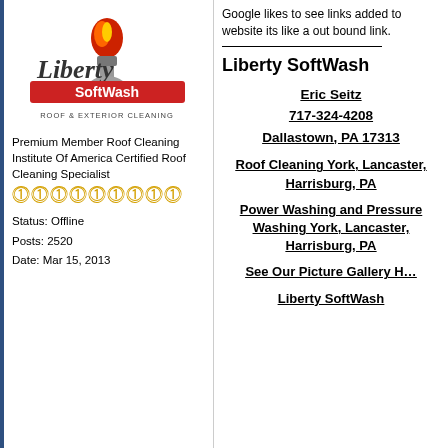[Figure (logo): Liberty SoftWash logo with torch and flame, Roof & Exterior Cleaning text]
Premium Member Roof Cleaning Institute Of America Certified Roof Cleaning Specialist
★★★★★★★★★
Status: Offline
Posts: 2520
Date: Mar 15, 2013
Google likes to see links added to website its like a out bound link.
Liberty SoftWash
Eric Seitz
717-324-4208
Dallastown, PA 17313
Roof Cleaning York, Lancaster, Harrisburg, PA
Power Washing and Pressure Washing York, Lancaster, Harrisburg, PA
See Our Picture Gallery Here
Liberty SoftWash